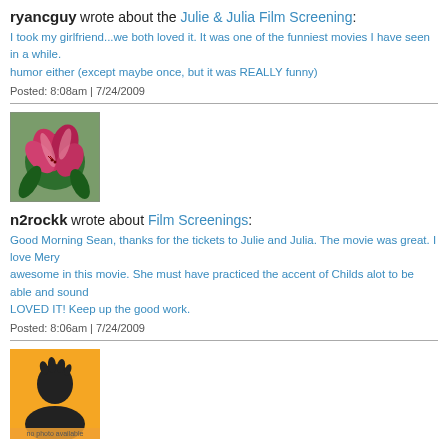ryancguy wrote about the Julie & Julia Film Screening:
I took my girlfriend...we both loved it. It was one of the funniest movies I have seen in a while. humor either (except maybe once, but it was REALLY funny)
Posted: 8:08am | 7/24/2009
[Figure (photo): Photo of pink/red stargazer lily flowers with green leaves and background]
n2rockk wrote about Film Screenings:
Good Morning Sean, thanks for the tickets to Julie and Julia. The movie was great. I love Mery awesome in this movie. She must have practiced the accent of Childs alot to be able and sound LOVED IT! Keep up the good work.
Posted: 8:06am | 7/24/2009
[Figure (photo): Orange background avatar placeholder with black silhouette of a person and text 'no photo available']
JayC wrote about Film Screenings: